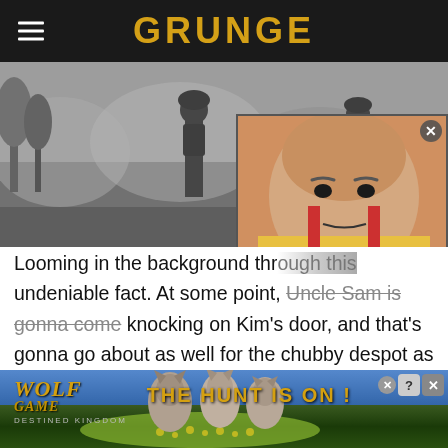GRUNGE
[Figure (photo): War scene background with soldiers in black and white, overlaid with a video thumbnail showing a heavyset man in yellow/orange outfit with a play button overlay]
Looming in the background thr... undeniable fact. At some point, Uncle Sam is gonna come knocking on Kim's door, and that's gonna go about as well for the chubby despot as getting into a bareknuckle boxing match with a full-grown grizzly. Assuming Washington holds back on the nukes, the DPRK would find itself on the receiving end of a joint South Korean
[Figure (advertisement): Wolf Game: Destined Kingdom advertisement banner with wolves and text 'THE HUNT IS ON!']